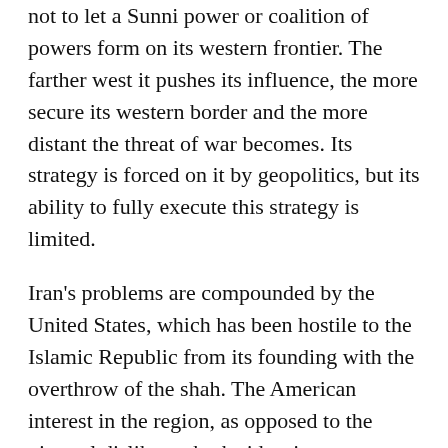not to let a Sunni power or coalition of powers form on its western frontier. The farther west it pushes its influence, the more secure its western border and the more distant the threat of war becomes. Its strategy is forced on it by geopolitics, but its ability to fully execute this strategy is limited.
Iran's problems are compounded by the United States, which has been hostile to the Islamic Republic from its founding with the overthrow of the shah. The American interest in the region, as opposed to the visceral dislike on both sides, is to prevent any single power from dominating the region. The historical reason used to be oil. That reason is still there but no longer defining. The geography of oil production has changed radically since the mid-1980s. The United States has an